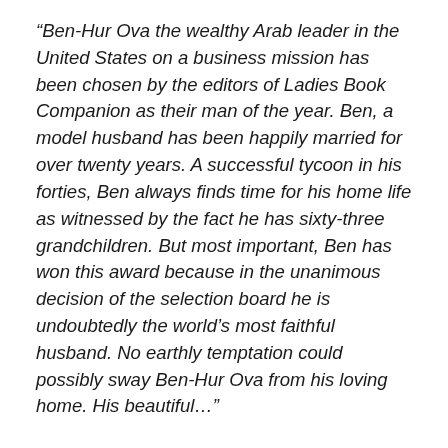“Ben-Hur Ova the wealthy Arab leader in the United States on a business mission has been chosen by the editors of Ladies Book Companion as their man of the year. Ben, a model husband has been happily married for over twenty years. A successful tycoon in his forties, Ben always finds time for his home life as witnessed by the fact he has sixty-three grandchildren. But most important, Ben has won this award because in the unanimous decision of the selection board he is undoubtedly the world’s most faithful husband. No earthly temptation could possibly sway Ben-Hur Ova from his loving home. His beautiful…”
He stops here because the next page has been torn out. Saturna used it for kindling to get the fire under Hitler re-started.